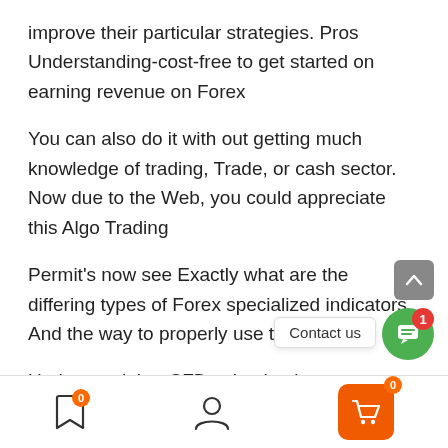improve their particular strategies. Pros Understanding-cost-free to get started on earning revenue on Forex
You can also do it with out getting much knowledge of trading, Trade, or cash sector. Now due to the Web, you could appreciate this Algo Trading
Permit's now see Exactly what are the differing types of Forex specialized indicators And the way to properly use them.
Understand that CFDs absolutely are a leveraged product and may end up in the [Contact us] ...y total cash. Trading CFDs might not get more info be
Bookmark 0 | User | Cart 0